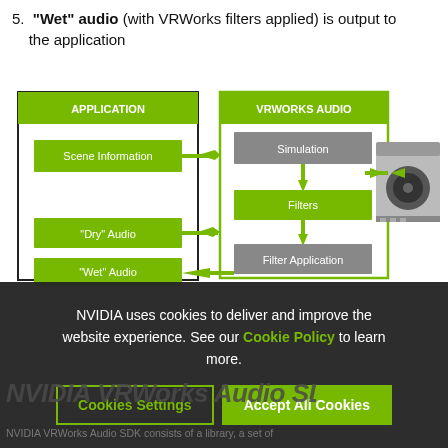5. "Wet" audio (with VRWorks filters applied) is output to the application
[Figure (flowchart): Flowchart showing APPLICATION block on left (containing Scene Information, Dry Audio, Wet Audio boxes) and VRWORKS AUDIO block in center (containing Simulation, Filters, Filter Application boxes in sequence). Arrows connect Scene Information and Dry Audio to the VRWorks Audio block. A GPU card image is on the right connected to VRWorks Audio. Wet Audio receives an arrow back from VRWorks Audio.]
NVIDIA uses cookies to deliver and improve the website experience. See our Cookie Policy to learn more.
Cookies Settings   Accept All Cookies
NVIDIA VRWorks Audio SDK
NVIDIA VRWorks Audio SDK consists of a library, a set of